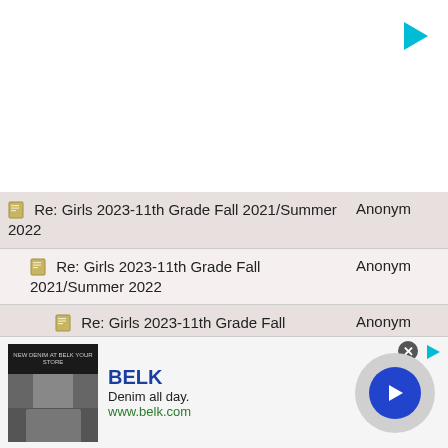[Figure (screenshot): White top area with cyan play icon in top-right corner]
Re: Girls 2023-11th Grade Fall 2021/Summer 2022 — Anonymous
Re: Girls 2023-11th Grade Fall 2021/Summer 2022 — Anonymous
Re: Girls 2023-11th Grade Fall 2021/Summer 2022 — Anonymous
Re: Girls 2023-11th Grade Fall 2021/Summer 2022 — Anonymous
Re: Girls 2023-11th Grade Fall 2021/Summer 2022 — Anonymous
Re: Girls 2023-11th Grade Fall 2021/Summer 2022 — Anonymous
Re: Girls 2023-11th Grade Fall 2021/Summer 2022 — Anonymous
[Figure (screenshot): BELK advertisement: Denim all day. www.belk.com with a blue circle arrow button]